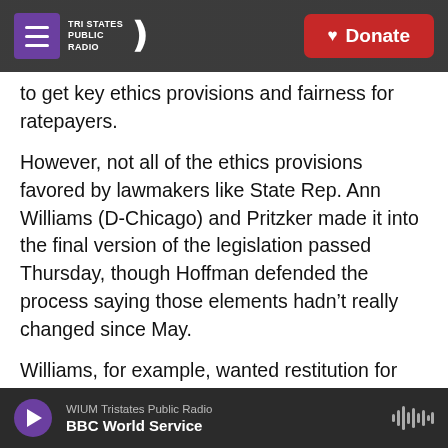Tri States Public Radio — Donate
to get key ethics provisions and fairness for ratepayers.
However, not all of the ethics provisions favored by lawmakers like State Rep. Ann Williams (D-Chicago) and Pritzker made it into the final version of the legislation passed Thursday, though Hoffman defended the process saying those elements hadn't really changed since May.
Williams, for example, wanted restitution for ratepayers related to any ill-gotten profits utilities may have received in the course of criminal wrongdoing — like the $150 million windfall ComEd
WIUM Tristates Public Radio — BBC World Service